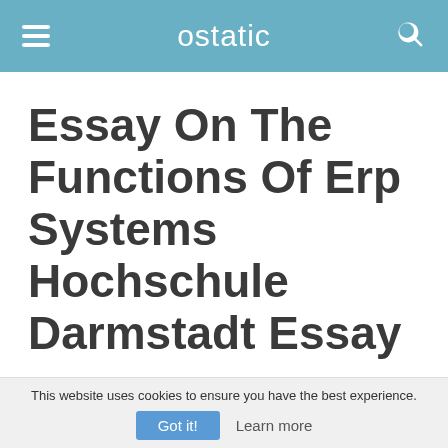ostatic
Essay On The Functions Of Erp Systems Hochschule Darmstadt Essay
3481 words - 14 pages
Die Chancen und Risiken von Klassischen ERP
This website uses cookies to ensure you have the best experience.
Got it!  Learn more